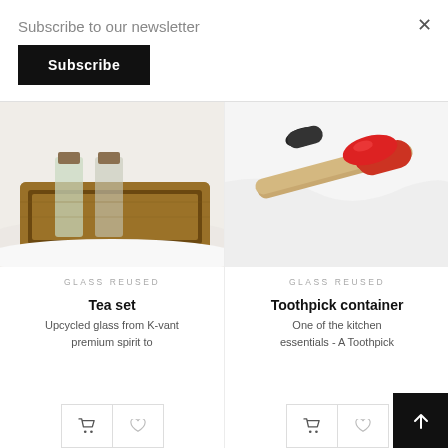Subscribe to our newsletter
Subscribe
[Figure (photo): Wooden tea set tray with glass bottles on white background]
GLASS REUSED
Tea set
Upcycled glass from K-vant premium spirit to
[Figure (photo): Toothpick container with red cap and wooden stick on white background]
GLASS REUSED
Toothpick container
One of the kitchen essentials - A Toothpick